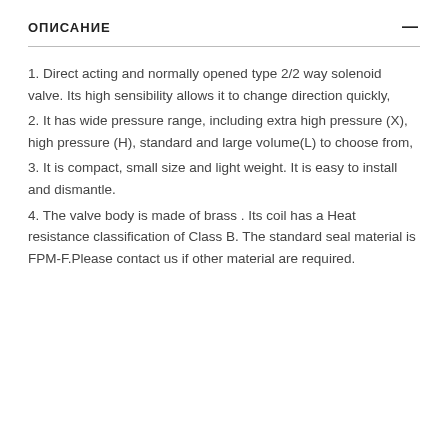ОПИСАНИЕ —
1. Direct acting and normally opened type 2/2 way solenoid valve. Its high sensibility allows it to change direction quickly,
2. It has wide pressure range, including extra high pressure (X), high pressure (H), standard and large volume(L) to choose from,
3. It is compact, small size and light weight. It is easy to install and dismantle.
4. The valve body is made of brass . Its coil has a Heat resistance classification of Class B. The standard seal material is FPM-F.Please contact us if other material are required.